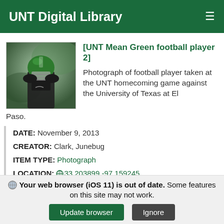UNT Digital Library
[Figure (photo): Photograph of a UNT Mean Green football player wearing a green helmet and dark uniform, taken at a game.]
[UNT Mean Green football player 2]
Photograph of football player taken at the UNT homecoming game against the University of Texas at El Paso.
DATE: November 9, 2013
CREATOR: Clark, Junebug
ITEM TYPE: Photograph
LOCATION: 33.203899 -97.159245
PARTNER: UNT Libraries Special Collections
Your web browser (iOS 11) is out of date. Some features on this site may not work.